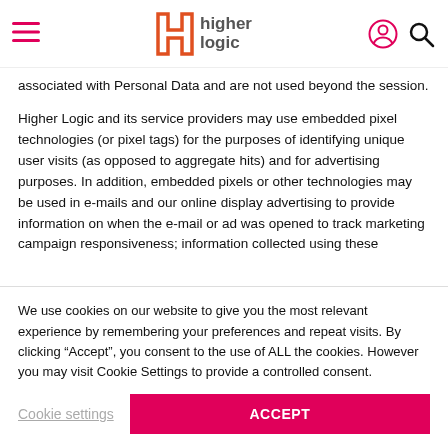Higher Logic [logo and navigation header]
associated with Personal Data and are not used beyond the session.
Higher Logic and its service providers may use embedded pixel technologies (or pixel tags) for the purposes of identifying unique user visits (as opposed to aggregate hits) and for advertising purposes. In addition, embedded pixels or other technologies may be used in e-mails and our online display advertising to provide information on when the e-mail or ad was opened to track marketing campaign responsiveness; information collected using these
We use cookies on our website to give you the most relevant experience by remembering your preferences and repeat visits. By clicking “Accept”, you consent to the use of ALL the cookies. However you may visit Cookie Settings to provide a controlled consent.
Cookie settings   ACCEPT